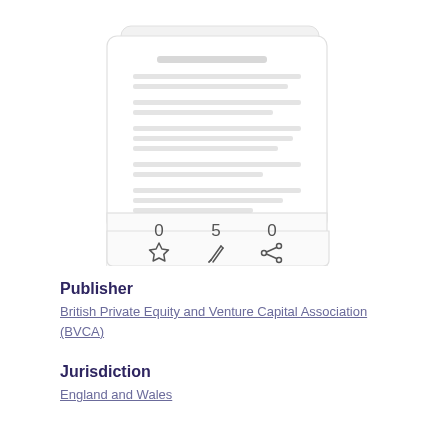[Figure (illustration): Document card illustration with stacked pages showing text lines, and three action icons below: star (0), pencil (5), share (0)]
Publisher
British Private Equity and Venture Capital Association (BVCA)
Jurisdiction
England and Wales